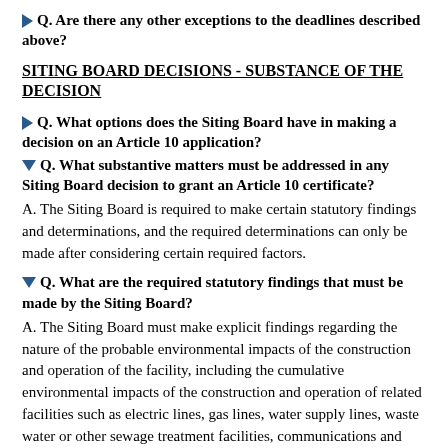Q. Are there any other exceptions to the deadlines described above?
SITING BOARD DECISIONS - SUBSTANCE OF THE DECISION
Q. What options does the Siting Board have in making a decision on an Article 10 application?
Q. What substantive matters must be addressed in any Siting Board decision to grant an Article 10 certificate?
A. The Siting Board is required to make certain statutory findings and determinations, and the required determinations can only be made after considering certain required factors.
Q. What are the required statutory findings that must be made by the Siting Board?
A. The Siting Board must make explicit findings regarding the nature of the probable environmental impacts of the construction and operation of the facility, including the cumulative environmental impacts of the construction and operation of related facilities such as electric lines, gas lines, water supply lines, waste water or other sewage treatment facilities, communications and